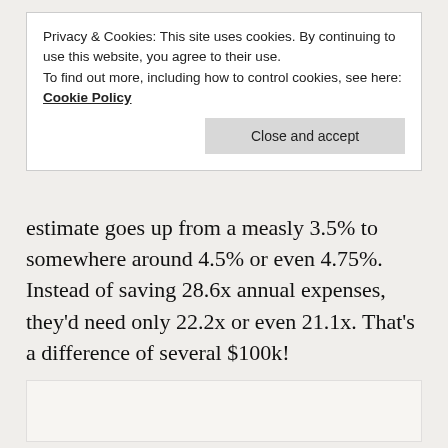Privacy & Cookies: This site uses cookies. By continuing to use this website, you agree to their use.
To find out more, including how to control cookies, see here: Cookie Policy
estimate goes up from a measly 3.5% to somewhere around 4.5% or even 4.75%. Instead of saving 28.6x annual expenses, they'd need only 22.2x or even 21.1x. That's a difference of several $100k!
[Figure (other): Partially visible chart or embedded content area at the bottom of the page]